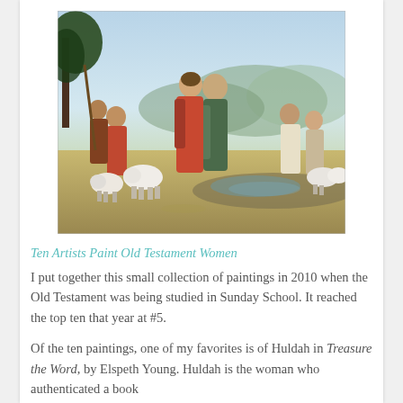[Figure (illustration): A classical painting depicting a biblical scene with figures in robes, sheep, and a pastoral landscape background. A man and woman appear to embrace in the center.]
Ten Artists Paint Old Testament Women
I put together this small collection of paintings in 2010 when the Old Testament was being studied in Sunday School. It reached the top ten that year at #5.
Of the ten paintings, one of my favorites is of Huldah in Treasure the Word, by Elspeth Young. Huldah is the woman who authenticated a book